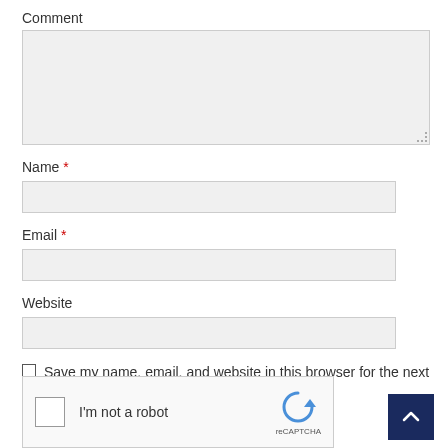Comment
[Figure (screenshot): Comment textarea input box (empty, light gray background with resize handle)]
Name *
[Figure (screenshot): Name text input field (empty, light gray background)]
Email *
[Figure (screenshot): Email text input field (empty, light gray background)]
Website
[Figure (screenshot): Website text input field (empty, light gray background)]
Save my name, email, and website in this browser for the next time I comment.
[Figure (screenshot): reCAPTCHA widget showing checkbox and 'I'm not a robot' label with reCAPTCHA logo]
[Figure (screenshot): Scroll to top button (dark navy blue square with white upward chevron arrow)]